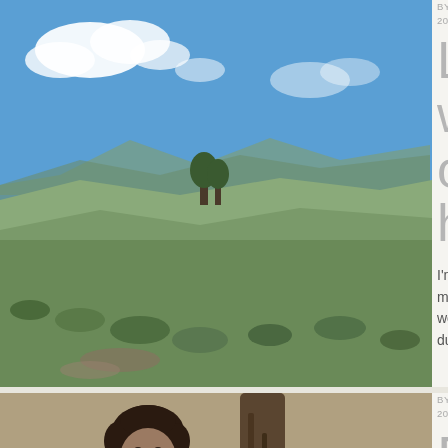BY WHEREMYFEETARE ON NOVEMBER [date], 2014 • { LEAVE A COMMENT }
Long weekends are on the horizon
[Figure (photo): Outdoor landscape photo with blue sky, white clouds, green rolling fields, scrubby vegetation and mountains in the background]
I'm feeling better today. The clouds (of my mood) have shifted, letting in some light. I worked my legs and shoulders at the gym during lunch today and went back [...]
BY WHEREMYFEETARE ON NOVEMBER 9, 2014 • { 6 COMMENTS }
Reading, Writing and
[Figure (photo): Photo of a woman with short curly hair wearing a white sleeveless top and green lanyard, sitting near a tree trunk]